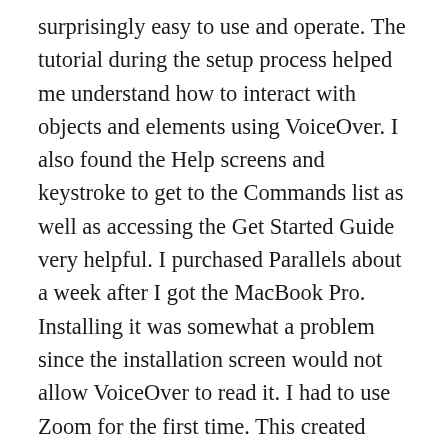surprisingly easy to use and operate. The tutorial during the setup process helped me understand how to interact with objects and elements using VoiceOver. I also found the Help screens and keystroke to get to the Commands list as well as accessing the Get Started Guide very helpful. I purchased Parallels about a week after I got the MacBook Pro. Installing it was somewhat a problem since the installation screen would not allow VoiceOver to read it. I had to use Zoom for the first time. This created frustration since I didn't know how to tame it, meaning the mouse pointer kept moving to the top left of the screen each time I grabbed the mouse. Also, I had to get used to the “fuzzy” looking fonts at high magnification. I made a few modifications to mouse tracking but still